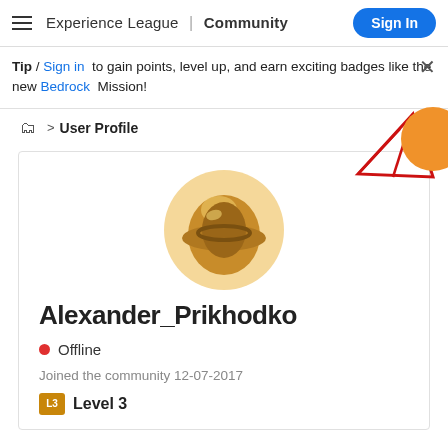Experience League | Community  Sign In
Tip / Sign in to gain points, level up, and earn exciting badges like the new Bedrock Mission!
> User Profile
[Figure (illustration): Adobe Experience League badge/logo graphic with red triangular outline and orange circle on right side]
[Figure (illustration): User avatar: circular avatar with golden/brown illustrated character]
Alexander_Prikhodko
Offline
Joined the community 12-07-2017
Level 3